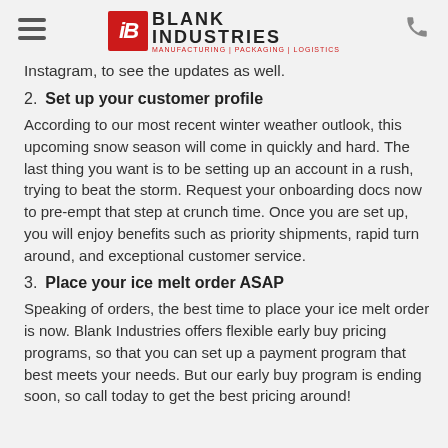iB BLANK INDUSTRIES | MANUFACTURING | PACKAGING | LOGISTICS
Instagram, to see the updates as well.
2. Set up your customer profile
According to our most recent winter weather outlook, this upcoming snow season will come in quickly and hard. The last thing you want is to be setting up an account in a rush, trying to beat the storm. Request your onboarding docs now to pre-empt that step at crunch time. Once you are set up, you will enjoy benefits such as priority shipments, rapid turn around, and exceptional customer service.
3. Place your ice melt order ASAP
Speaking of orders, the best time to place your ice melt order is now. Blank Industries offers flexible early buy pricing programs, so that you can set up a payment program that best meets your needs. But our early buy program is ending soon, so call today to get the best pricing around!